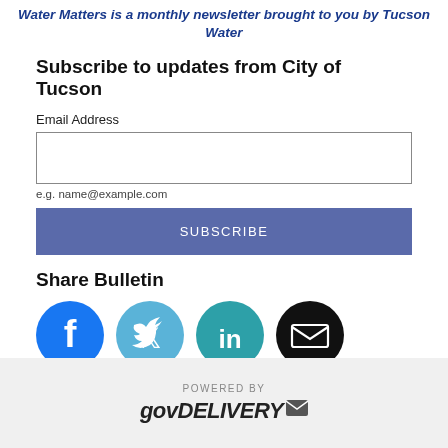Water Matters is a monthly newsletter brought to you by Tucson Water
Subscribe to updates from City of Tucson
Email Address
e.g. name@example.com
SUBSCRIBE
Share Bulletin
[Figure (illustration): Social media share icons: Facebook, Twitter, LinkedIn, Email]
POWERED BY GOVDELIVERY